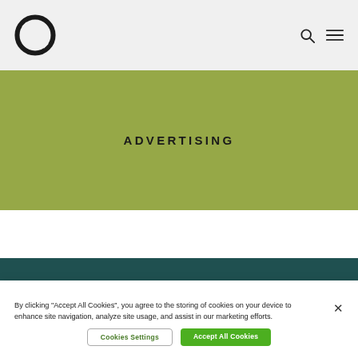Logo navigation header with search and menu icons
[Figure (illustration): Olive/yellow-green banner with centered text 'ADVERTISING' in bold spaced uppercase letters]
ADVERTISING
By clicking "Accept All Cookies", you agree to the storing of cookies on your device to enhance site navigation, analyze site usage, and assist in our marketing efforts.
Cookies Settings
Accept All Cookies